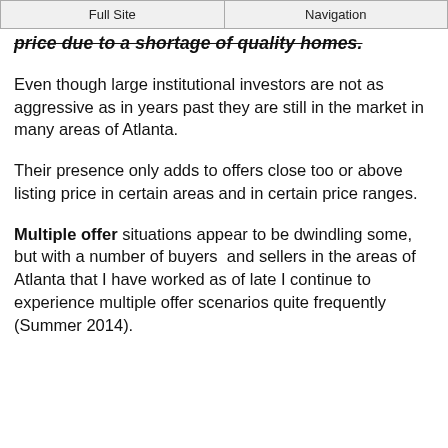Full Site | Navigation
price due to a shortage of quality homes.
Even though large institutional investors are not as aggressive as in years past they are still in the market in many areas of Atlanta.
Their presence only adds to offers close too or above listing price in certain areas and in certain price ranges.
Multiple offer situations appear to be dwindling some, but with a number of buyers  and sellers in the areas of Atlanta that I have worked as of late I continue to experience multiple offer scenarios quite frequently (Summer 2014).